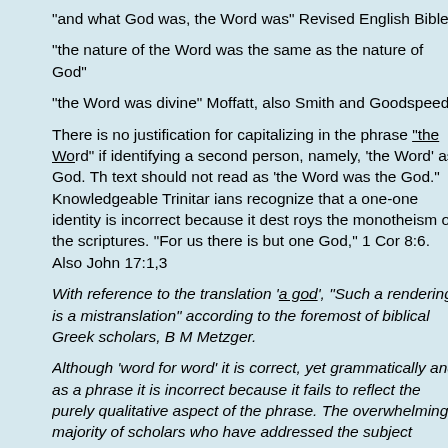"and what God was, the Word was" Revised English Bible
"the nature of the Word was the same as the nature of God"
"the Word was divine" Moffatt, also Smith and Goodspeed
There is no justification for capitalizing in the phrase "the Word" if identifying a second person, namely, 'the Word' as God. The text should not read as 'the Word was the God.' Knowledgeable Trinitarians recognize that a one-one identity is incorrect because it destroys the monotheism of the scriptures. "For us there is but one God," 1 Cor 8:6. Also John 17:1,3
With reference to the translation 'a god', "Such a rendering is a mistranslation" according to the foremost of biblical Greek scholars, B M Metzger.
Although 'word for word' it is correct, yet grammatically and as a phrase it is incorrect because it fails to reflect the purely qualitative aspect of the phrase. The overwhelming majority of scholars who have addressed the subject understand John to be emphasizing the qualities or character of Logos and not an identity as a second god. Prior to Phillip Harner's study of qualitative anarthrous predicate nouns, "qualitative" nouns were translated more or less as "indefinite" nouns. Harner found that 80% are "qualitative" and 20% are "definite" and none are exclusively indefinite